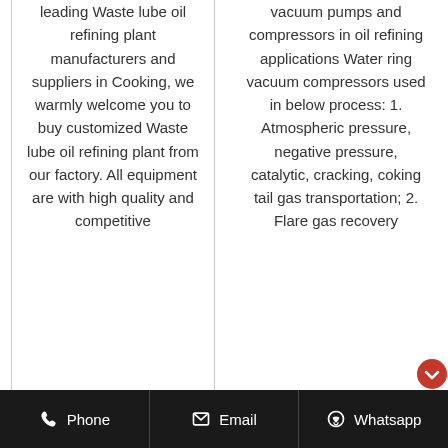leading Waste lube oil refining plant manufacturers and suppliers in Cooking, we warmly welcome you to buy customized Waste lube oil refining plant from our factory. All equipment are with high quality and competitive
vacuum pumps and compressors in oil refining applications Water ring vacuum compressors used in below process: 1. Atmospheric pressure, negative pressure, catalytic, cracking, coking tail gas transportation; 2. Flare gas recovery
Phone  Email  Whatsapp